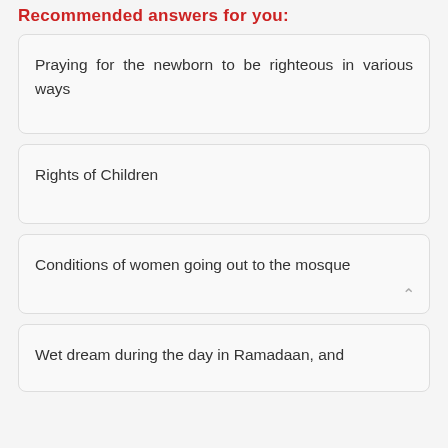Recommended answers for you:
Praying for the newborn to be righteous in various ways
Rights of Children
Conditions of women going out to the mosque
Wet dream during the day in Ramadaan, and the expiation of the bath, the "Rukhsa"